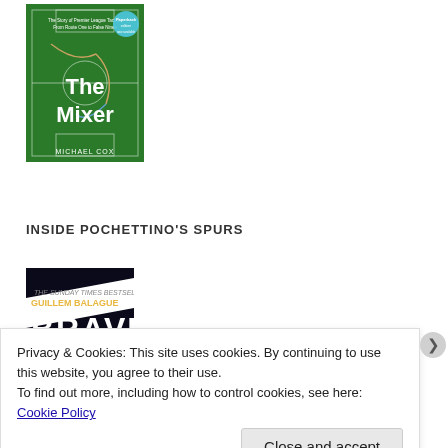[Figure (photo): Book cover of 'The Mixer' by Michael Cox — green soccer field tactical diagram background with the title in large white text]
INSIDE POCHETTINO'S SPURS
[Figure (photo): Book cover of 'Brave' by Guillem Balague — Sunday Times Bestseller, dark background with large bold title text]
Privacy & Cookies: This site uses cookies. By continuing to use this website, you agree to their use.
To find out more, including how to control cookies, see here: Cookie Policy
Close and accept